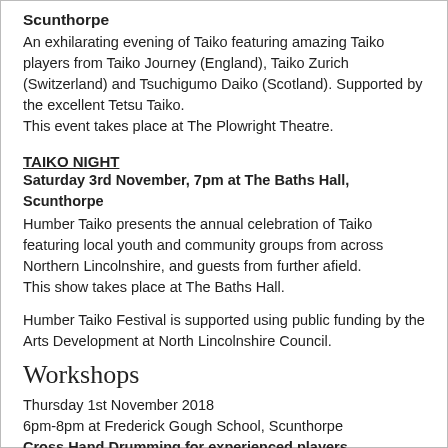Scunthorpe
An exhilarating evening of Taiko featuring amazing Taiko players from Taiko Journey (England), Taiko Zurich (Switzerland) and Tsuchigumo Daiko (Scotland). Supported by the excellent Tetsu Taiko.
This event takes place at The Plowright Theatre.
TAIKO NIGHT
Saturday 3rd November, 7pm at The Baths Hall, Scunthorpe
Humber Taiko presents the annual celebration of Taiko featuring local youth and community groups from across Northern Lincolnshire, and guests from further afield.
This show takes place at The Baths Hall.
Humber Taiko Festival is supported using public funding by the Arts Development at North Lincolnshire Council.
Workshops
Thursday 1st November 2018
6pm-8pm at Frederick Gough School, Scunthorpe
Cross Hand Drumming for experienced players
With Martin Doyle from Tsuchigumo Daiko